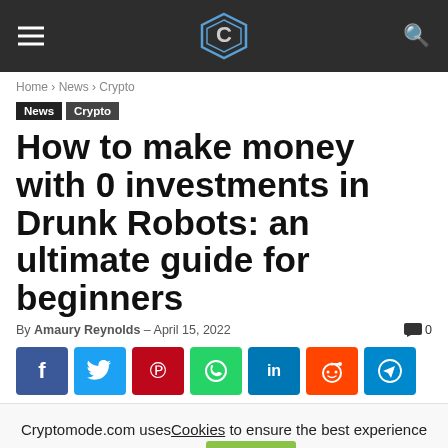Cryptomode header with hamburger menu, logo, and search icon
Home › News › Crypto
News  Crypto
How to make money with 0 investments in Drunk Robots: an ultimate guide for beginners
By Amaury Reynolds - April 15, 2022  0
[Figure (infographic): Social share buttons: Facebook, Twitter, Pinterest, WhatsApp, LinkedIn, Reddit, Telegram]
Cryptomode.com uses Cookies to ensure the best experience for you. Accept